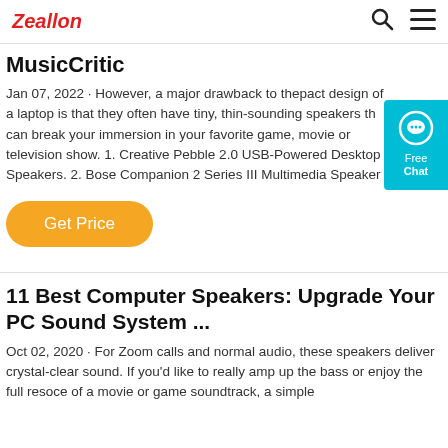Zeallon
MusicCritic
Jan 07, 2022 · However, a major drawback to thepact design of a laptop is that they often have tiny, thin-sounding speakers th can break your immersion in your favorite game, movie or television show. 1. Creative Pebble 2.0 USB-Powered Desktop Speakers. 2. Bose Companion 2 Series III Multimedia Speaker
[Figure (other): Teal chat widget with speech bubble icon, text 'Free' and 'Chat']
Get Price
11 Best Computer Speakers: Upgrade Your PC Sound System ...
Oct 02, 2020 · For Zoom calls and normal audio, these speakers deliver crystal-clear sound. If you'd like to really amp up the bass or enjoy the full resoce of a movie or game soundtrack, a simple